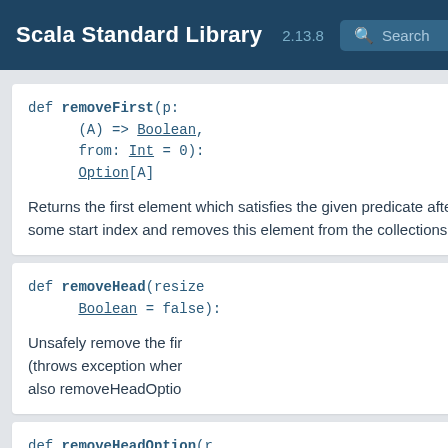Scala Standard Library 2.13.8
def removeFirst(p: (A) => Boolean, from: Int = 0): Option[A]
Returns the first element which satisfies the given predicate after or at some start index and removes this element from the collections
def removeHead(resizeBoolean = false):
Unsafely remove the first (throws exception when also removeHeadOptio
def removeHeadOption(r Boolean = false):
def removeHeadWhile(f: